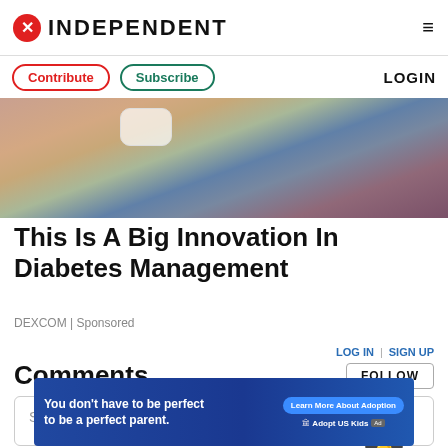INDEPENDENT
Contribute | Subscribe | LOGIN
[Figure (photo): Close-up photo of a person's abdomen wearing a continuous glucose monitor (CGM) patch device, with jeans and a burgundy/dark red fabric visible in the background.]
This Is A Big Innovation In Diabetes Management
DEXCOM | Sponsored
Comments
LOG IN | SIGN UP
FOLLOW
Start the conversation
[Figure (other): Advertisement banner: 'You don't have to be perfect to be a perfect parent.' with Learn More About Adoption button and Adopt US Kids / HHS logos.]